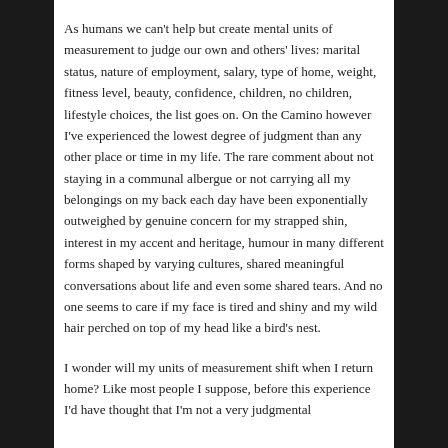As humans we can't help but create mental units of measurement to judge our own and others' lives: marital status, nature of employment, salary, type of home, weight, fitness level, beauty, confidence, children, no children, lifestyle choices, the list goes on. On the Camino however I've experienced the lowest degree of judgment than any other place or time in my life. The rare comment about not staying in a communal albergue or not carrying all my belongings on my back each day have been exponentially outweighed by genuine concern for my strapped shin, interest in my accent and heritage, humour in many different forms shaped by varying cultures, shared meaningful conversations about life and even some shared tears. And no one seems to care if my face is tired and shiny and my wild hair perched on top of my head like a bird's nest.
I wonder will my units of measurement shift when I return home? Like most people I suppose, before this experience I'd have thought that I'm not a very judgmental